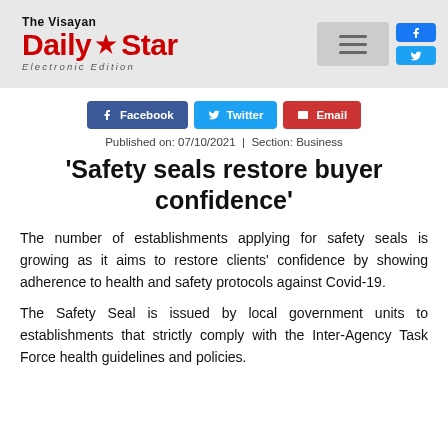The Visayan Daily Star Electronic Edition
Published on: 07/10/2021 | Section: Business
'Safety seals restore buyer confidence'
The number of establishments applying for safety seals is growing as it aims to restore clients' confidence by showing adherence to health and safety protocols against Covid-19.
The Safety Seal is issued by local government units to establishments that strictly comply with the Inter-Agency Task Force health guidelines and policies.